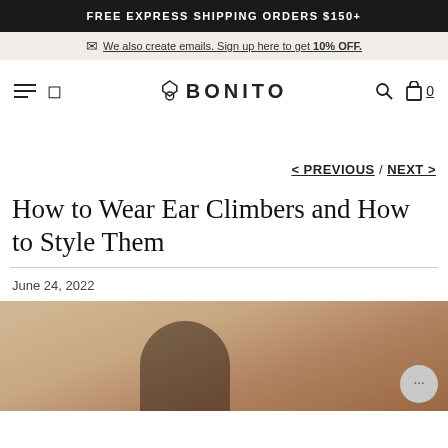FREE EXPRESS SHIPPING ORDERS $150+
We also create emails. Sign up here to get 10% OFF.
[Figure (logo): Bonito jewelry brand logo with diamond icon and navigation bar including hamburger menu, search, bag icons]
< PREVIOUS / NEXT >
How to Wear Ear Climbers and How to Style Them
June 24, 2022
[Figure (photo): Close-up photo of a person's ear wearing ear climber jewelry against a warm beige/nude background]